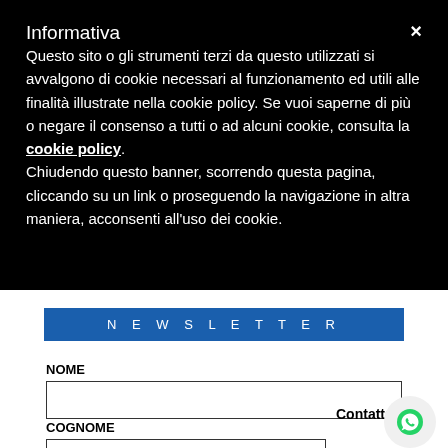Informativa
Questo sito o gli strumenti terzi da questo utilizzati si avvalgono di cookie necessari al funzionamento ed utili alle finalità illustrate nella cookie policy. Se vuoi saperne di più o negare il consenso a tutti o ad alcuni cookie, consulta la cookie policy.
Chiudendo questo banner, scorrendo questa pagina, cliccando su un link o proseguendo la navigazione in altra maniera, acconsenti all'uso dei cookie.
N E W S L E T T E R
NOME
COGNOME
Contattaci!